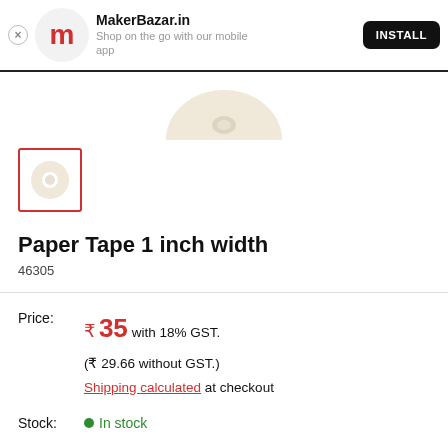MakerBazar.in — Shop on the go with our mobile app — INSTALL
[Figure (photo): Top portion of a roll of paper/masking tape viewed from above, cream/beige color]
[Figure (photo): Thumbnail image of a roll of paper tape, selected (red border)]
Paper Tape 1 inch width
46305
Price: ₹ 35 with 18% GST. (₹ 29.66 without GST.) Shipping calculated at checkout
Stock: In stock